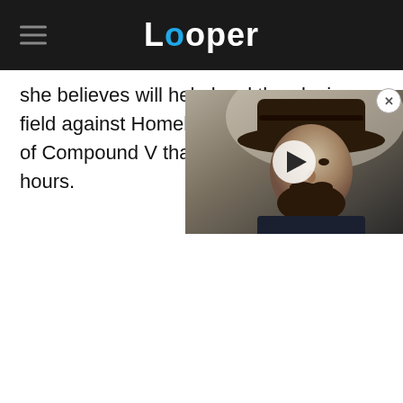Looper
she believes will help level the playing field against Homelander and the other V — of Compound V that gives t hours.
[Figure (screenshot): Video overlay thumbnail showing a man wearing a cowboy hat with a play button overlay. Close button (X) in upper right corner.]